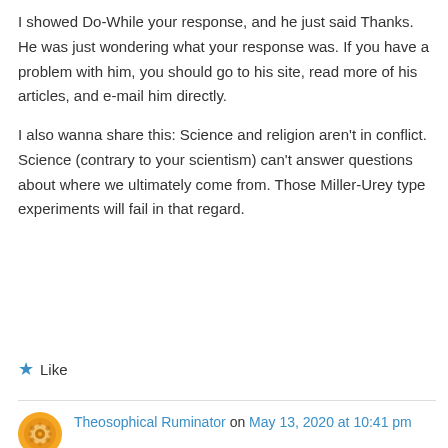I showed Do-While your response, and he just said Thanks. He was just wondering what your response was. If you have a problem with him, you should go to his site, read more of his articles, and e-mail him directly.
I also wanna share this: Science and religion aren't in conflict. Science (contrary to your scientism) can't answer questions about where we ultimately come from. Those Miller-Urey type experiments will fail in that regard.
★ Like
Theosophical Ruminator on May 13, 2020 at 10:41 pm